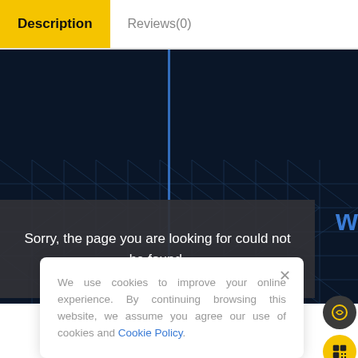Description
Reviews(0)
[Figure (screenshot): Dark navy blue background with a vertical blue line and partial blue 'W' text visible at right edge, with a wire-mesh geometric pattern in the lower portion]
Sorry, the page you are looking for could not be found.
We use cookies to improve your online experience. By continuing browsing this website, we assume you agree our use of cookies and Cookie Policy.